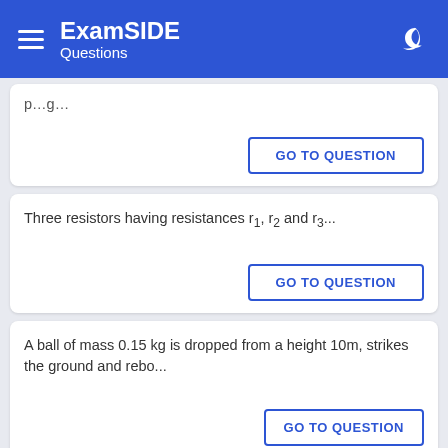ExamSIDE Questions
Three resistors having resistances r<sub>1</sub>, r<sub>2</sub> and r<sub>3</sub>...
GO TO QUESTION
A ball of mass 0.15 kg is dropped from a height 10m, strikes the ground and rebo...
GO TO QUESTION